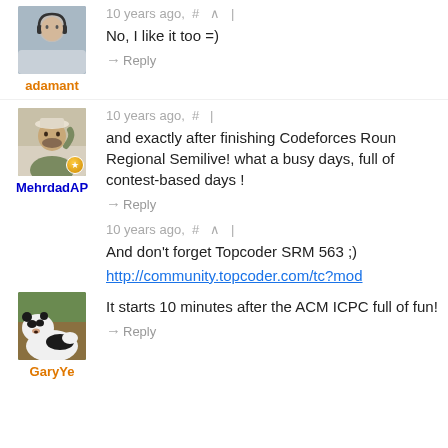[Figure (photo): Avatar photo of user 'adamant' — person with headphones]
adamant
10 years ago,  #  ^  |
No, I like it too =)
→ Reply
10 years ago,  #  |
[Figure (photo): Avatar photo of user 'MehrdadAP' — person with hat outdoors]
MehrdadAP
and exactly after finishing Codeforces Roun Regional Semilive! what a busy days, full of contest-based days !
→ Reply
10 years ago,  #  ^  |
And don't forget Topcoder SRM 563 ;)
http://community.topcoder.com/tc?mod
[Figure (photo): Avatar photo of user 'GaryYe' — panda bear lying down]
GaryYe
It starts 10 minutes after the ACM ICPC full of fun!
→ Reply